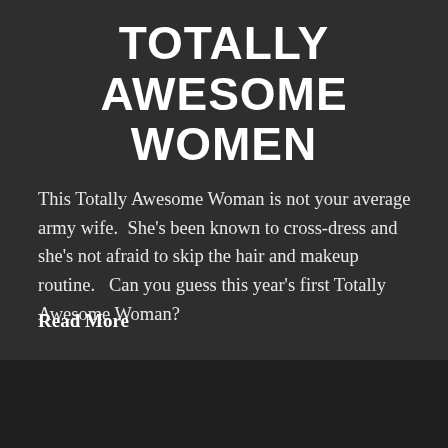TOTALLY AWESOME WOMEN
This Totally Awesome Woman is not your average army wife.  She's been known to cross-dress and she's not afraid to skip the hair and makeup routine.  Can you guess this year's first Totally Awesome Woman?
Read More